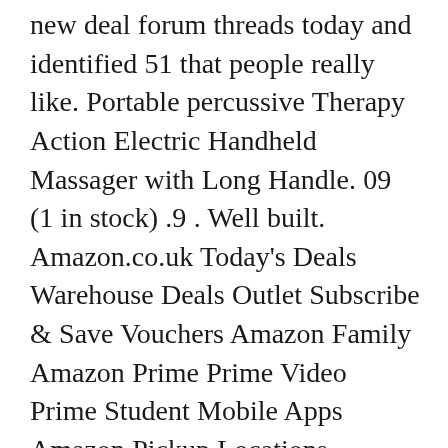new deal forum threads today and identified 51 that people really like. Portable percussive Therapy Action Electric Handheld Massager with Long Handle. 09 (1 in stock) .9 . Well built. Amazon.co.uk Today's Deals Warehouse Deals Outlet Subscribe & Save Vouchers Amazon Family Amazon Prime Prime Video Prime Student Mobile Apps Amazon Pickup Locations Amazon Assistant 1-16 of 157 results for "Thumper Disney" Online shopping for Lighting from a great selection of Ceiling Lighting, Children's Lighting, Specialty & Decorative Lighting, Lamps, Wall Lighting Fixtures & more at everyday low prices. Find products from Ceiling Fan Designers at low prices. Ceiling Fans. (112) 112 product ratings - 6 PACK 4FT LED